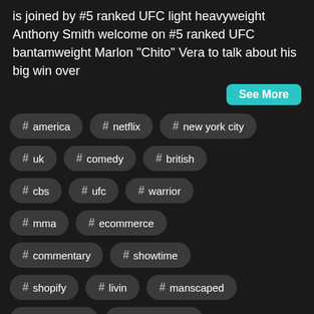is joined by #5 ranked UFC light heavyweight Anthony Smith welcome on #5 ranked UFC bantamweight Marlon "Chito" Vera to talk about his big win over
See More
# america
# netflix
# new york city
# uk
# comedy
# british
# cbs
# ufc
# warrior
# mma
# ecommerce
# commentary
# showtime
# shopify
# livin
# manscaped
# triple threat
# ufc fight night